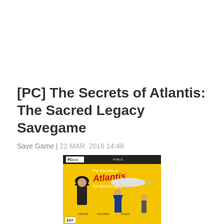[PC] The Secrets of Atlantis: The Sacred Legacy Savegame
Save Game | 22 MAR, 2016 14:48
[Figure (photo): PC DVD game box cover for The Secrets of Atlantis: The Sacred Legacy, featuring a man in a hat and suit, a woman in a blue dress, a futuristic aircraft, and yellow background with the game title in red stylized text. Rated 12+.]